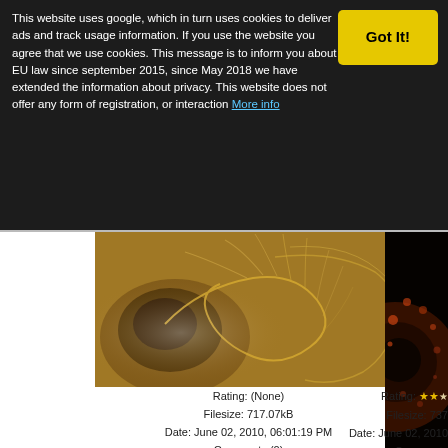This website uses google, which in turn uses cookies to deliver ads and track usage information. If you use the website you agree that we use cookies. This message is to inform you about EU law since september 2015, since May 2018 we have extended the information about privacy. This website does not offer any form of registration, or interaction More info
[Figure (photo): Golden fractal spiral image with swirling patterns and feather-like textures in brown and gold tones]
Rating: (None)
Filesize: 717.07kB
Date: June 02, 2010, 06:01:19 PM
Comments (0)
By: Bent-Winged Angel
[Figure (photo): Dark fractal image with deep red and brown spherical patterns against black background, partially cropped]
Rating: (stars)
Filesize: 737...
Date: June 02, 2010...
Comments...
By: Ross H...
Powered by SMF Gallery Pro
Powered by SMF 1.1.21 | SMF © 2015, Simple Machines
Dilber MC Theme by HarzeM